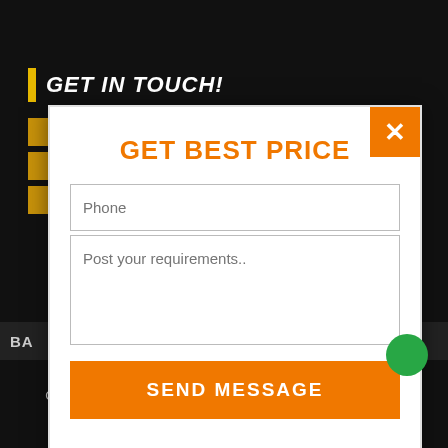GET IN TOUCH!
[Figure (screenshot): A modal popup dialog with 'GET BEST PRICE' title, a Phone input field, a Post your requirements textarea, and a SEND MESSAGE button, with an orange X close button in the top-right corner.]
BA
Copyright 2021 Indoor & Outdoor Furniture World. All rights reserved.